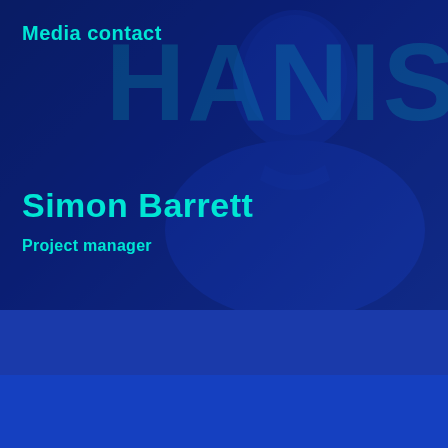[Figure (photo): Blue-tinted photo of a man (Simon Barrett) wearing a polo shirt, shown from chest up, with a dark background featuring large partial letters. The image has a strong blue/navy color overlay.]
Media contact
Simon Barrett
Project manager
Want to learn more?
First name *required
Last name *required